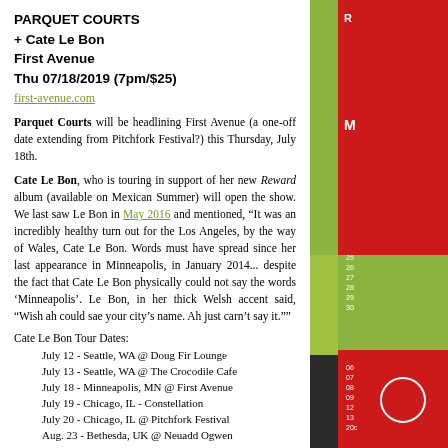PARQUET COURTS
+ Cate Le Bon
First Avenue
Thu 07/18/2019 (7pm/$25)
first-avenue.com
Parquet Courts will be headlining First Avenue (a one-off date extending from Pitchfork Festival?) this Thursday, July 18th.
Cate Le Bon, who is touring in support of her new Reward album (available on Mexican Summer) will open the show. We last saw Le Bon in May 2016 and mentioned, “It was an incredibly healthy turn out for the Los Angeles, by the way of Wales, Cate Le Bon. Words must have spread since her last appearance in Minneapolis, in January 2014... despite the fact that Cate Le Bon physically could not say the words ‘Minneapolis’. Le Bon, in her thick Welsh accent said, “Wish ah could sae your city’s name. Ah just carn’t say it.””
Cate Le Bon Tour Dates:
July 12 - Seattle, WA @ Doug Fir Lounge
July 13 - Seattle, WA @ The Crocodile Cafe
July 18 - Minneapolis, MN @ First Avenue
July 19 - Chicago, IL - Constellation
July 20 - Chicago, IL @ Pitchfork Festival
Aug. 23 - Bethesda, UK @ Neuadd Ogwen
Aug. 24 - West Lothian, UK @ Jupiter Rising Festival
Aug. 25 - Edinburgh, UK @ Edinburgh Fringe Festival
Aug. 27 - Manchester, UK @ Gorilla
Aug. 28 - Leeds, UK @ Riley Smith Theatre